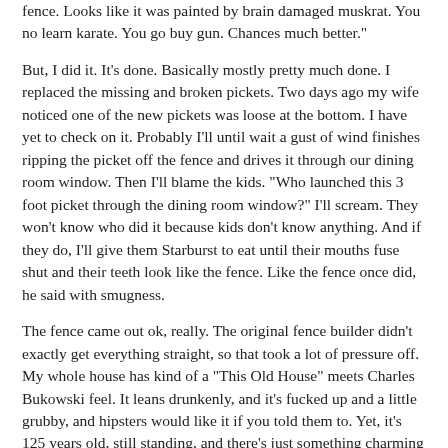fence. Looks like it was painted by brain damaged muskrat. You no learn karate. You go buy gun. Chances much better."
But, I did it. It's done. Basically mostly pretty much done. I replaced the missing and broken pickets. Two days ago my wife noticed one of the new pickets was loose at the bottom. I have yet to check on it. Probably I'll until wait a gust of wind finishes ripping the picket off the fence and drives it through our dining room window. Then I'll blame the kids. "Who launched this 3 foot picket through the dining room window?" I'll scream. They won't know who did it because kids don't know anything. And if they do, I'll give them Starburst to eat until their mouths fuse shut and their teeth look like the fence. Like the fence once did, he said with smugness.
The fence came out ok, really. The original fence builder didn't exactly get everything straight, so that took a lot of pressure off. My whole house has kind of a "This Old House" meets Charles Bukowski feel. It leans drunkenly, and it's fucked up and a little grubby, and hipsters would like it if you told them to. Yet, it's 125 years old, still standing, and there's just something charming about it . . .